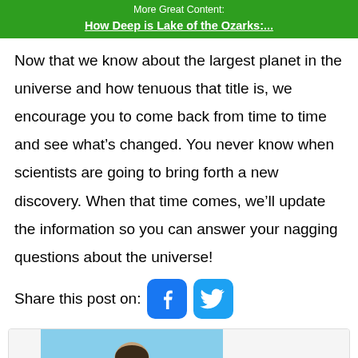More Great Content:
How Deep is Lake of the Ozarks:...
Now that we know about the largest planet in the universe and how tenuous that title is, we encourage you to come back from time to time and see what’s changed. You never know when scientists are going to bring forth a new discovery. When that time comes, we’ll update the information so you can answer your nagging questions about the universe!
Share this post on:
[Figure (illustration): Author photo showing a person with dark hair against a blue sky background]